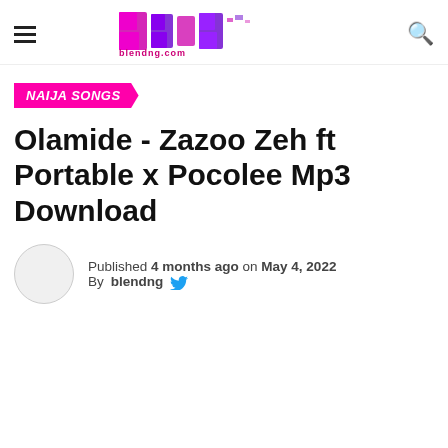blendng.com logo and navigation
NAIJA SONGS
Olamide - Zazoo Zeh ft Portable x Pocolee Mp3 Download
Published 4 months ago on May 4, 2022 By blendng